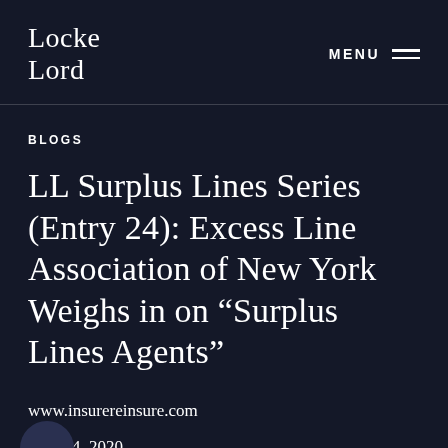Locke Lord | MENU
BLOGS
LL Surplus Lines Series (Entry 24): Excess Line Association of New York Weighs in on “Surplus Lines Agents”
www.insurereinsure.com
June 24, 2020